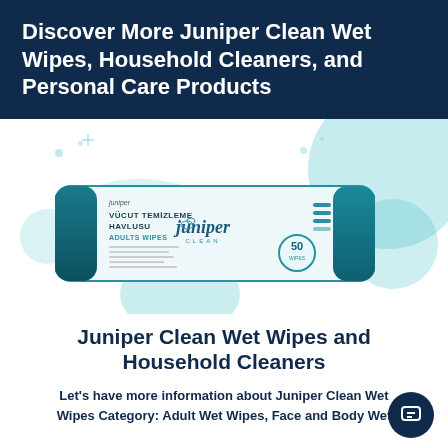Discover More Juniper Clean Wet Wipes, Household Cleaners, and Personal Care Products
[Figure (photo): Juniper Clean adult wet wipes package — a rectangular packet with teal/navy colored end flaps, labeled VÜCUT TEMİZLEME HAVLUSU ADULTS WIPES with the Juniper Clean logo, shown against decorative teal circles and blob shapes on a white background]
Juniper Clean Wet Wipes and Household Cleaners
Let's have more information about Juniper Clean Wet Wipes Category: Adult Wet Wipes, Face and Body Wet